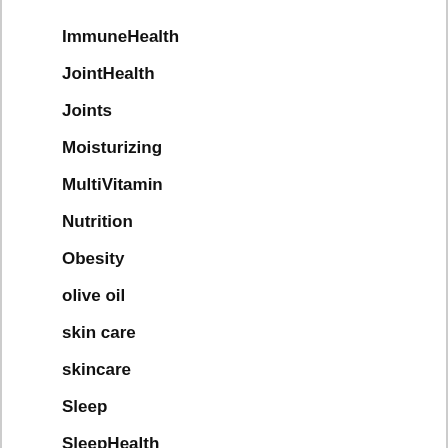ImmuneHealth
JointHealth
Joints
Moisturizing
MultiVitamin
Nutrition
Obesity
olive oil
skin care
skincare
Sleep
SleepHealth